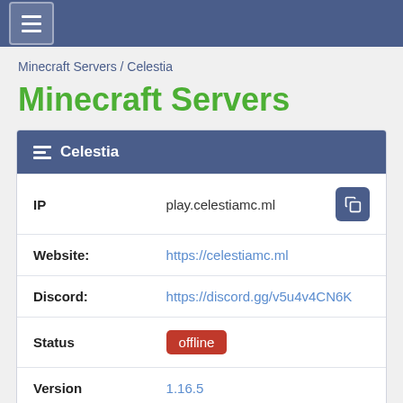≡ (navigation menu button)
Minecraft Servers / Celestia
Minecraft Servers
| Field | Value |
| --- | --- |
| IP | play.celestiamc.ml |
| Website: | https://celestiamc.ml |
| Discord: | https://discord.gg/v5u4v4CN6K |
| Status | offline |
| Version | 1.16.5 |